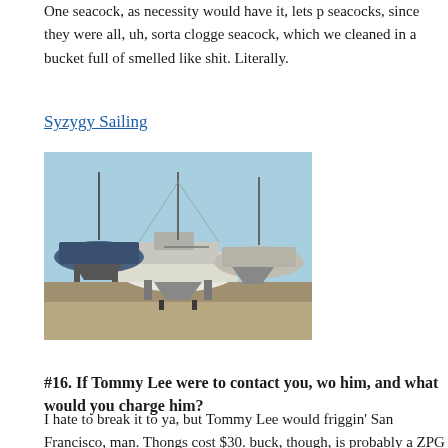One seacock, as necessity would have it, lets p seacocks, since they were all, uh, sorta clogge seacock, which we cleaned in a bucket full of smelled like shit. Literally.
Syzygy Sailing
[Figure (photo): Sailboats stored in a boatyard on land, viewed from ground level showing hulls and masts.]
#16.  If Tommy Lee were to contact you, wo him, and what would you charge him?
I hate to break it to ya, but Tommy Lee would friggin' San Francisco, man. Thongs cost $30. buck, though, is probably a ZPG cock ring. Th
[Figure (photo): A decorative ring with a black and red heart design and yellow/gold elements.]